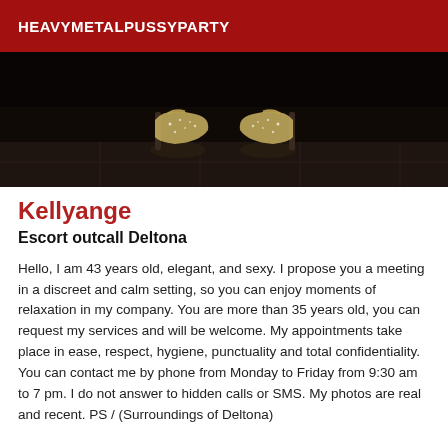HEAVYMETALPUSSYPARTY
[Figure (photo): Dark photograph showing a pair of silver glittery high-heeled shoes on a tiled floor]
Kellyange
Escort outcall Deltona
Hello, I am 43 years old, elegant, and sexy. I propose you a meeting in a discreet and calm setting, so you can enjoy moments of relaxation in my company. You are more than 35 years old, you can request my services and will be welcome. My appointments take place in ease, respect, hygiene, punctuality and total confidentiality. You can contact me by phone from Monday to Friday from 9:30 am to 7 pm. I do not answer to hidden calls or SMS. My photos are real and recent. PS / (Surroundings of Deltona)